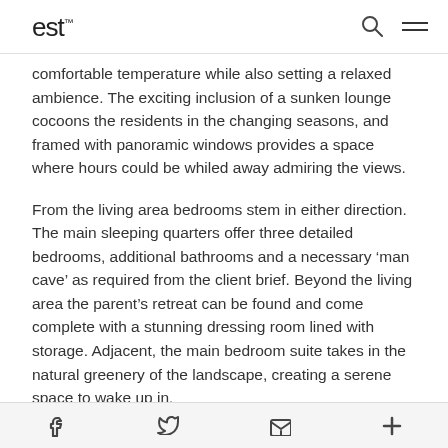est
comfortable temperature while also setting a relaxed ambience.  The exciting inclusion of a sunken lounge cocoons the residents in the changing seasons, and framed with panoramic windows provides a space where hours could be whiled away admiring the views.
From the living area bedrooms stem in either direction. The main sleeping quarters offer three detailed bedrooms, additional bathrooms and a necessary ‘man cave’ as required from the client brief. Beyond the living area the parent’s retreat can be found and come complete with a stunning dressing room lined with storage. Adjacent, the main bedroom suite takes in the natural greenery of the landscape, creating a serene space to wake up in.
In many ways, this is a house of retreat; the revitalising
f  •  twitter  •  email  •  +